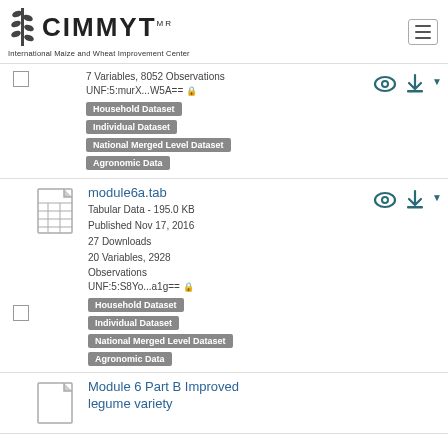[Figure (logo): CIMMYT International Maize and Wheat Improvement Center logo with wheat/maize icon]
7 Variables, 8052 Observations
UNF:5:murX...W5A==
Household Dataset | Individual Dataset | National Merged Level Dataset | Agronomic Data
module6a.tab
Tabular Data - 195.0 KB
Published Nov 17, 2016
27 Downloads
20 Variables, 2928 Observations
UNF:5:S8Yo...a1g==
Household Dataset | Individual Dataset | National Merged Level Dataset | Agronomic Data
Module 6 Part B Improved legume variety